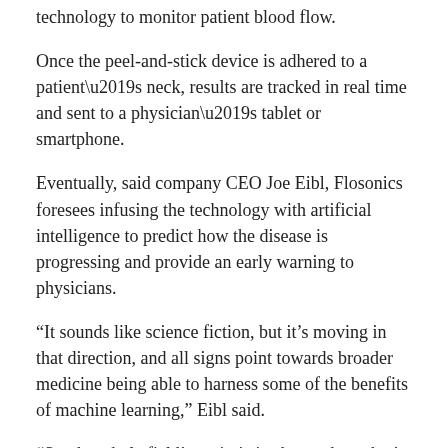technology to monitor patient blood flow.
Once the peel-and-stick device is adhered to a patient’s neck, results are tracked in real time and sent to a physician’s tablet or smartphone.
Eventually, said company CEO Joe Eibl, Flosonics foresees infusing the technology with artificial intelligence to predict how the disease is progressing and provide an early warning to physicians.
“It sounds like science fiction, but it’s moving in that direction, and all signs point towards broader medicine being able to harness some of the benefits of machine learning,” Eibl said.
“So, the whole field’s optimistic about where that’s going to go.”
The idea for the FloPatch was first conceptualized in